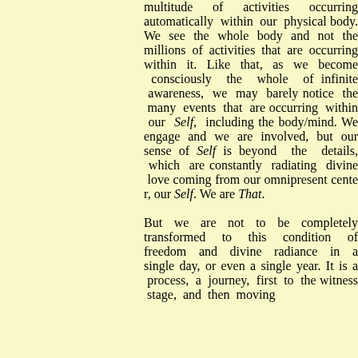multitude of activities occurring automatically within our physical body. We see the whole body and not the millions of activities that are occurring within it. Like that, as we become consciously the whole of infinite awareness, we may barely notice the many events that are occurring within our Self, including the body/mind. We engage and we are involved, but our sense of Self is beyond the details, which are constantly radiating divine love coming from our omnipresent center, our Self. We are That.

But we are not to be completely transformed to this condition of freedom and divine radiance in a single day, or even a single year. It is a process, a journey, first to the witness stage, and then moving